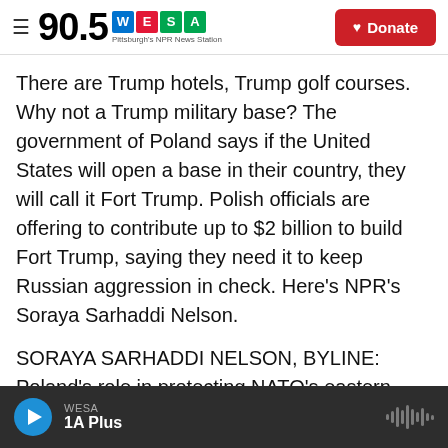90.5 WESA Pittsburgh's NPR News Station | Donate
There are Trump hotels, Trump golf courses. Why not a Trump military base? The government of Poland says if the United States will open a base in their country, they will call it Fort Trump. Polish officials are offering to contribute up to $2 billion to build Fort Trump, saying they need it to keep Russian aggression in check. Here's NPR's Soraya Sarhaddi Nelson.
SORAYA SARHADDI NELSON, BYLINE: Poland's role in protecting NATO's eastern flank has grown since Russia annexed Crimea back in 2014.
WESA | 1A Plus